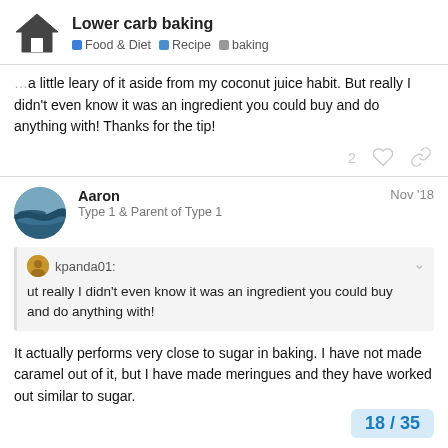Lower carb baking | Food & Diet | Recipe | baking
a little leary of it aside from my coconut juice habit. But really I didn't even know it was an ingredient you could buy and do anything with! Thanks for the tip!
2 ♡ 🔗
Aaron Nov '18
Type 1 & Parent of Type 1
kpanda01:
ut really I didn't even know it was an ingredient you could buy and do anything with!
It actually performs very close to sugar in baking. I have not made caramel out of it, but I have made meringues and they have worked out similar to sugar.
18 / 35